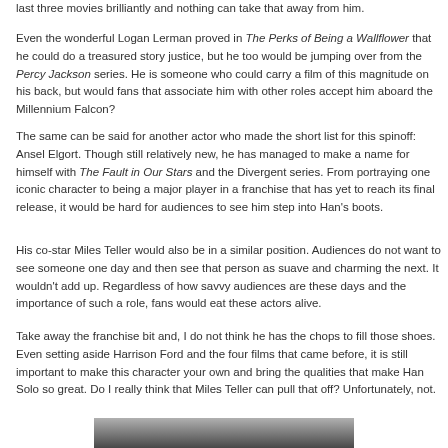last three movies brilliantly and nothing can take that away from him.
Even the wonderful Logan Lerman proved in The Perks of Being a Wallflower that he could do a treasured story justice, but he too would be jumping over from the Percy Jackson series. He is someone who could carry a film of this magnitude on his back, but would fans that associate him with other roles accept him aboard the Millennium Falcon?
The same can be said for another actor who made the short list for this spinoff: Ansel Elgort. Though still relatively new, he has managed to make a name for himself with The Fault in Our Stars and the Divergent series. From portraying one iconic character to being a major player in a franchise that has yet to reach its final release, it would be hard for audiences to see him step into Han's boots.
His co-star Miles Teller would also be in a similar position. Audiences do not want to see someone one day and then see that person as suave and charming the next. It wouldn't add up. Regardless of how savvy audiences are these days and the importance of such a role, fans would eat these actors alive.
Take away the franchise bit and, I do not think he has the chops to fill those shoes. Even setting aside Harrison Ford and the four films that came before, it is still important to make this character your own and bring the qualities that make Han Solo so great. Do I really think that Miles Teller can pull that off? Unfortunately, not.
[Figure (photo): Bottom of page photo, partially visible dark image]